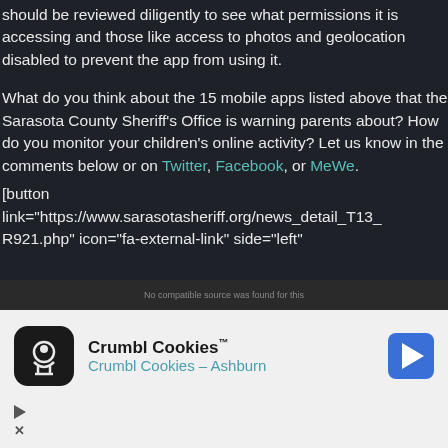should be reviewed diligently to see what permissions it is accessing and those like access to photos and geolocation disabled to prevent the app from using it.
What do you think about the 15 mobile apps listed above that the Sarasota County Sheriff's Office is warning parents about? How do you monitor your children's online activity? Let us know in the comments below or on Twitter, Facebook, or MeWe.
[button link="https://www.sarasotasheriff.org/news_detail_T13_R921.php" icon="fa-external-link" side="left"
[Figure (other): Crumbl Cookies advertisement with logo, app name, subtitle 'Crumbl Cookies - Ashburn', navigation arrow icon, play button and close button controls]